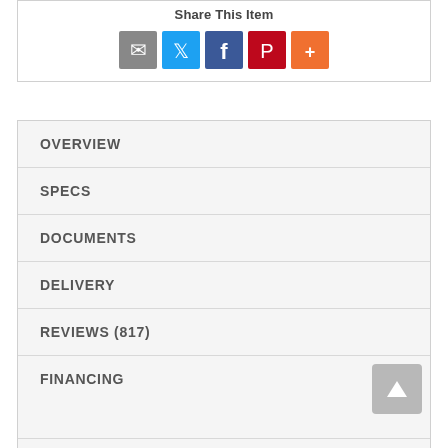Share This Item
[Figure (infographic): Social share icons: Email (grey), Twitter (blue), Facebook (dark blue), Pinterest (red), More (orange)]
OVERVIEW
SPECS
DOCUMENTS
DELIVERY
REVIEWS (817)
FINANCING